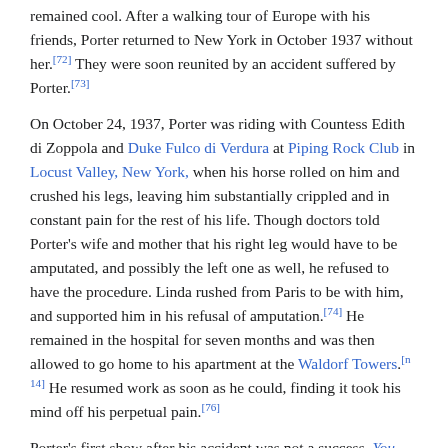remained cool. After a walking tour of Europe with his friends, Porter returned to New York in October 1937 without her.[72] They were soon reunited by an accident suffered by Porter.[73]
On October 24, 1937, Porter was riding with Countess Edith di Zoppola and Duke Fulco di Verdura at Piping Rock Club in Locust Valley, New York, when his horse rolled on him and crushed his legs, leaving him substantially crippled and in constant pain for the rest of his life. Though doctors told Porter's wife and mother that his right leg would have to be amputated, and possibly the left one as well, he refused to have the procedure. Linda rushed from Paris to be with him, and supported him in his refusal of amputation.[74] He remained in the hospital for seven months and was then allowed to go home to his apartment at the Waldorf Towers.[n 14] He resumed work as soon as he could, finding it took his mind off his perpetual pain.[76]
Porter's first show after his accident was not a success. You Never Know (1938), starring Clifton Webb, Lupe Vélez and Libby Holman, ran for only 78 performances.[77] The score included the songs, "From Alpha to Omega" and "At Long Last Love".[78] He returned to success with Leave It to Me! (1938); the show introduced Mary...